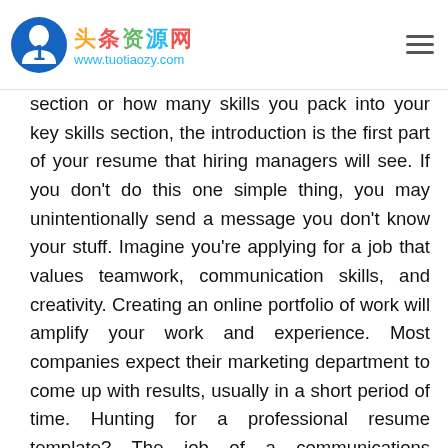头条资源网 www.tuotiaozy.com
section or how many skills you pack into your key skills section, the introduction is the first part of your resume that hiring managers will see. If you don't do this one simple thing, you may unintentionally send a message you don't know your stuff. Imagine you're applying for a job that values teamwork, communication skills, and creativity. Creating an online portfolio of work will amplify your work and experience. Most companies expect their marketing department to come up with results, usually in a short period of time. Hunting for a professional resume template? The job of a communications specialist incorporates skills from several different fields, including marketing, journalism, advertising, and business